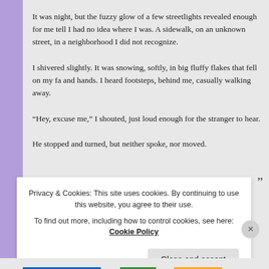It was night, but the fuzzy glow of a few streetlights revealed enough for me tell I had no idea where I was. A sidewalk, on an unknown street, in a neighborhood I did not recognize.
I shivered slightly. It was snowing, softly, in big fluffy flakes that fell on my fa and hands. I heard footsteps, behind me, casually walking away.
“Hey, excuse me,” I shouted, just loud enough for the stranger to hear.
He stopped and turned, but neither spoke, nor moved.
Privacy & Cookies: This site uses cookies. By continuing to use this website, you agree to their use.
To find out more, including how to control cookies, see here: Cookie Policy
Close and accept